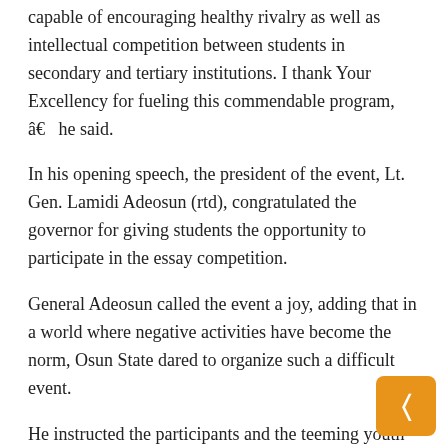capable of encouraging healthy rivalry as well as intellectual competition between students in secondary and tertiary institutions. I thank Your Excellency for fueling this commendable program, â€ he said.
In his opening speech, the president of the event, Lt. Gen. Lamidi Adeosun (rtd), congratulated the governor for giving students the opportunity to participate in the essay competition.
General Adeosun called the event a joy, adding that in a world where negative activities have become the norm, Osun State dared to organize such a difficult event.
He instructed the participants and the teeming youth population of the state not to slacken their efforts to contribute to the development of the society, adding that education, security and other development needs of the state and the nation are a collective responsibility.
He also recommended a review of family values â€‹â€‹and ideals as an instrument to rebuild the nation's weak security architecture,